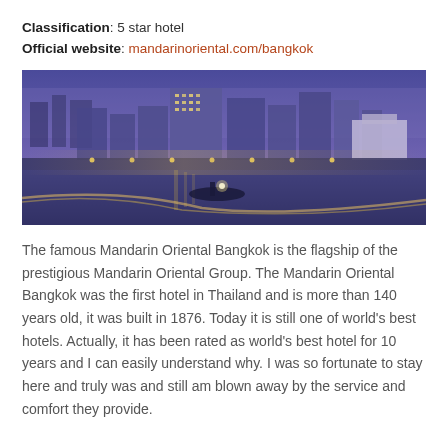Classification: 5 star hotel
Official website: mandarinoriental.com/bangkok
[Figure (photo): Night/dusk panoramic photo of Mandarin Oriental Bangkok hotel and surrounding city skyline reflected in the Chao Phraya river, with a boat visible in the foreground.]
The famous Mandarin Oriental Bangkok is the flagship of the prestigious Mandarin Oriental Group. The Mandarin Oriental Bangkok was the first hotel in Thailand and is more than 140 years old, it was built in 1876. Today it is still one of world's best hotels. Actually, it has been rated as world's best hotel for 10 years and I can easily understand why. I was so fortunate to stay here and truly was and still am blown away by the service and comfort they provide.